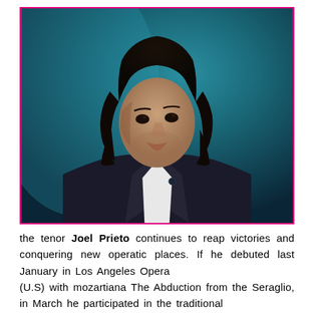[Figure (photo): Professional portrait photograph of tenor Joel Prieto, a young man with shoulder-length dark hair wearing a black tuxedo with a white dress shirt and black bow tie, posed against a teal/dark blue-green background.]
the tenor Joel Prieto continues to reap victories and conquering new operatic places. If he debuted last January in Los Angeles Opera (U.S) with mozartiana The Abduction from the Seraglio, in March he participated in the traditional